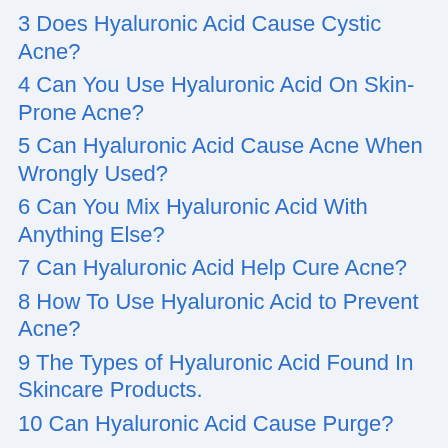3 Does Hyaluronic Acid Cause Cystic Acne?
4 Can You Use Hyaluronic Acid On Skin-Prone Acne?
5 Can Hyaluronic Acid Cause Acne When Wrongly Used?
6 Can You Mix Hyaluronic Acid With Anything Else?
7 Can Hyaluronic Acid Help Cure Acne?
8 How To Use Hyaluronic Acid to Prevent Acne?
9 The Types of Hyaluronic Acid Found In Skincare Products.
10 Can Hyaluronic Acid Cause Purge?
11 Possible Risks And Side Effects...